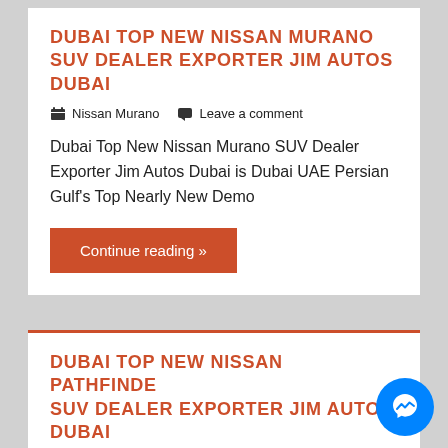DUBAI TOP NEW NISSAN MURANO SUV DEALER EXPORTER JIM AUTOS DUBAI
Nissan Murano   Leave a comment
Dubai Top New Nissan Murano SUV Dealer Exporter Jim Autos Dubai is Dubai UAE Persian Gulf's Top Nearly New Demo
Continue reading »
DUBAI TOP NEW NISSAN PATHFINDER SUV DEALER EXPORTER JIM AUTOS DUBAI